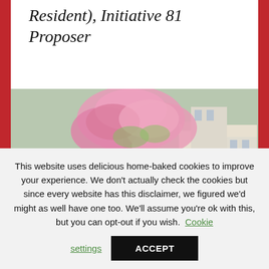Resident), Initiative 81 Proposer
[Figure (photo): Family photo of four people — a woman with dark hair, two young children with curly hair, and a bearded man with glasses — standing in front of a flowering pink tree on a city street with historic buildings in the background.]
This website uses delicious home-baked cookies to improve your experience. We don't actually check the cookies but since every website has this disclaimer, we figured we'd might as well have one too. We'll assume you're ok with this, but you can opt-out if you wish. Cookie settings ACCEPT